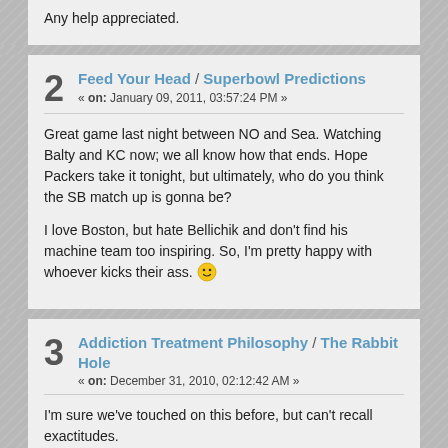Any help appreciated.
2 Feed Your Head / Superbowl Predictions
« on: January 09, 2011, 03:57:24 PM »
Great game last night between NO and Sea. Watching Balty and KC now; we all know how that ends. Hope Packers take it tonight, but ultimately, who do you think the SB match up is gonna be?

I love Boston, but hate Bellichik and don't find his machine team too inspiring. So, I'm pretty happy with whoever kicks their ass. 🙂
3 Addiction Treatment Philosophy / The Rabbit Hole
« on: December 31, 2010, 02:12:42 AM »
I'm sure we've touched on this before, but can't recall exactitudes.